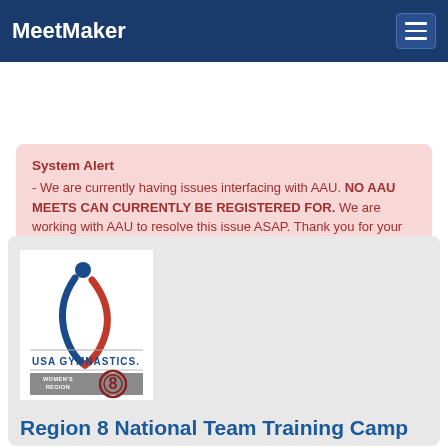MeetMaker
System Alert
- We are currently having issues interfacing with AAU. NO AAU MEETS CAN CURRENTLY BE REGISTERED FOR. We are working with AAU to resolve this issue ASAP. Thank you for your patience.
[Figure (logo): USA Gymnastics Women's Region 8 logo]
Region 8 National Team Training Camp